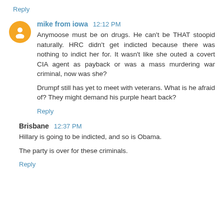Reply
mike from iowa  12:12 PM
Anymoose must be on drugs. He can't be THAT stoopid naturally. HRC didn't get indicted because there was nothing to indict her for. It wasn't like she outed a covert CIA agent as payback or was a mass murdering war criminal, now was she?

Drumpf still has yet to meet with veterans. What is he afraid of? They might demand his purple heart back?
Reply
Brisbane  12:37 PM
Hillary is going to be indicted, and so is Obama.

The party is over for these criminals.
Reply